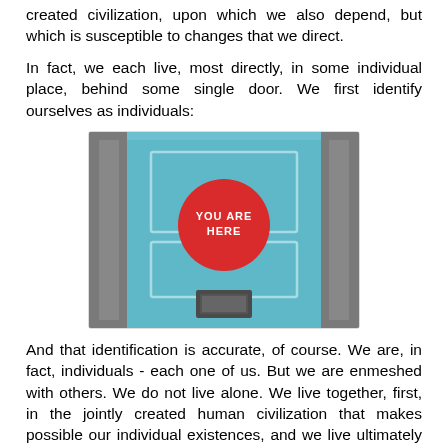created civilization, upon which we also depend, but which is susceptible to changes that we direct.
In fact, we each live, most directly, in some individual place, behind some single door. We first identify ourselves as individuals:
[Figure (photo): A blue door photographed straight-on, with grey surrounding trim/wall panels. A large red circle is displayed on the door with white bold text reading 'YOU ARE HERE'. Below the circle is a small square inset mailbox slot or window.]
And that identification is accurate, of course. We are, in fact, individuals - each one of us. But we are enmeshed with others. We do not live alone. We live together, first, in the jointly created human civilization that makes possible our individual existences, and we live ultimately in the World of